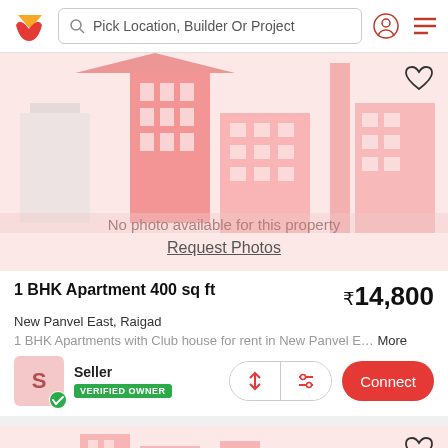Pick Location, Builder Or Project
[Figure (illustration): Property listing placeholder image showing illustrated city buildings in pink/red tones with text 'No photo available for this property' and 'Request Photos' link below]
No photo available for this property
Request Photos
1 BHK Apartment 400 sq ft
₹14,800
New Panvel East, Raigad
1 BHK Apartments with Club house for rent in New Panvel E… More
Seller
VERIFIED OWNER
Connect